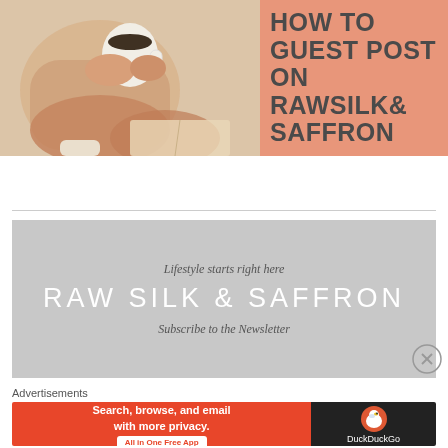[Figure (photo): Person in cozy sweater holding a coffee mug, sitting with a book, lifestyle blog header image composed of photo on left and salmon-colored text box on right reading HOW TO GUEST POST ON RAWSILK& SAFFRON]
[Figure (infographic): Newsletter subscription banner with light gray background. Text reads: 'Lifestyle starts right here' in italic, 'RAW SILK & SAFFRON' in large white uppercase letters, 'Subscribe to the Newsletter' in italic below.]
Advertisements
[Figure (screenshot): DuckDuckGo advertisement banner. Left side orange background reads 'Search, browse, and email with more privacy. All in One Free App'. Right side dark background with DuckDuckGo logo and duck icon.]